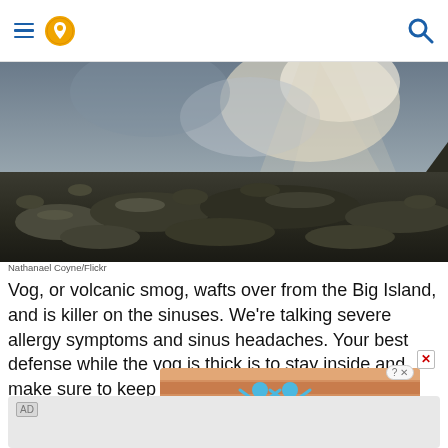navigation header with menu, location pin, and search icons
[Figure (photo): Dramatic volcanic lava field landscape with dark rocky terrain under a stormy sky with light breaking through clouds]
Nathanael Coyne/Flickr
Vog, or volcanic smog, wafts over from the Big Island, and is killer on the sinuses. We're talking severe allergy symptoms and sinus headaches. Your best defense while the vog is thick is to stay inside and make sure to keep taking t
[Figure (infographic): Hold and Move advertisement banner with cartoon figures and striped background]
[Figure (other): Bottom AD placeholder box]